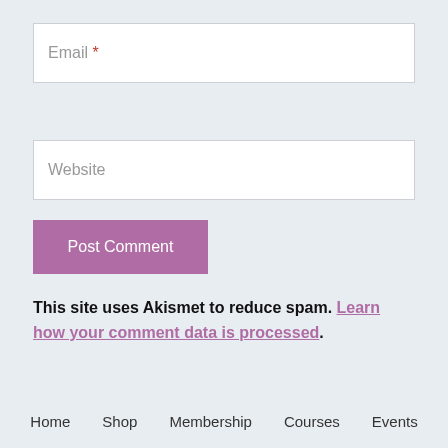Email *
Website
Post Comment
This site uses Akismet to reduce spam. Learn how your comment data is processed.
Home    Shop    Membership    Courses    Events